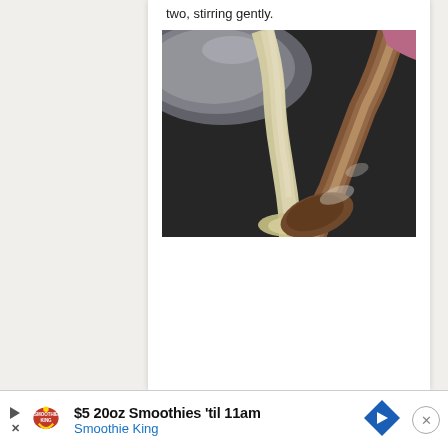two, stirring gently.
[Figure (photo): Close-up photo of a light-colored batter or sauce being poured from a bowl into a dark pan, with a wooden spoon resting in the pan.]
$5 20oz Smoothies 'til 11am
Smoothie King